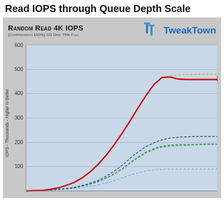Read IOPS through Queue Depth Scale
[Figure (line-chart): Line chart showing Random Read 4K IOPS through queue depth scale. Y-axis 0-600 (thousands). Multiple series: red solid line reaching ~465K, orange dashed line reaching ~480K, dark blue dashed line leveling ~225K, green dashed lines ~190-200K, light blue dashed line ~90K. All lines start near 0 at low queue depths and rise as queue depth increases.]